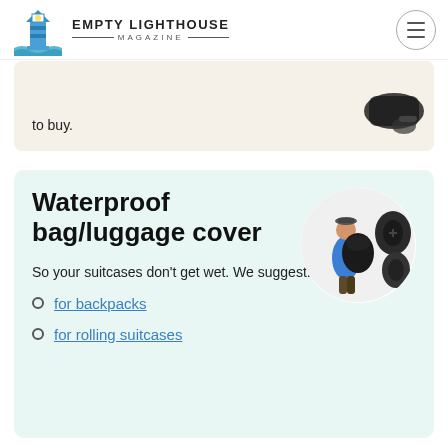EMPTY LIGHTHOUSE MAGAZINE
to buy.
Waterproof bag/luggage cover
[Figure (photo): Person wearing a blue jacket with a large backpack covered by a dark waterproof cover, plus two standalone waterproof bag covers shown separately]
So your suitcases don't get wet. We suggest:
for backpacks
for rolling suitcases